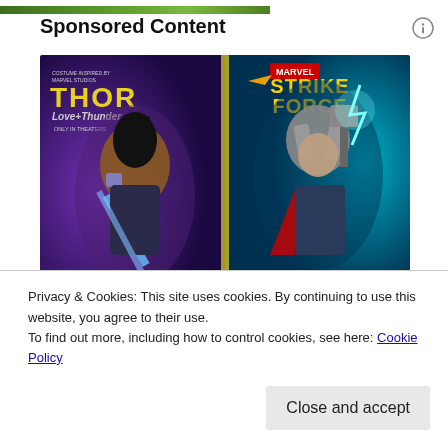[Figure (illustration): Partial green banner/image strip at top of page]
Sponsored Content
[Figure (photo): Marvel Strike Force advertisement featuring Valkyrie and Mighty Thor characters from Thor Love and Thunder. Purple and teal background with character names in large white block letters at the bottom. Marvel Strike Force logo at top center with Thor Love and Thunder logo on the left.]
Privacy & Cookies: This site uses cookies. By continuing to use this website, you agree to their use.
To find out more, including how to control cookies, see here: Cookie Policy
Close and accept